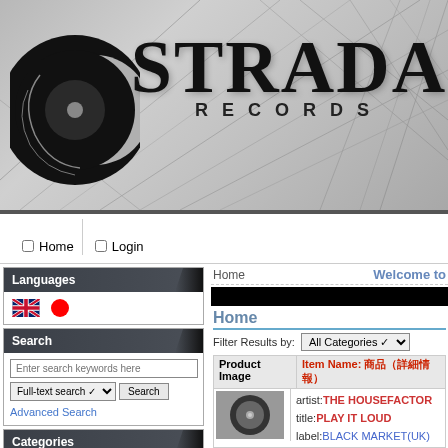[Figure (logo): Strada Records logo with vinyl record graphic and decorative scratchy line background. Large bold serif STRADA text with RECORDS in spaced capitals below.]
Home
Login
Languages
UK flag and Japanese flag icons for language selection
Search
Enter search keywords here | Full-text search dropdown | Search button | Advanced Search
Categories
NEW IN
-- DEEP HOUSE
-- RAW / EXTREME HOUSE
-- SOULFUL HOUSE
-- CHICAGO / DETROIT
-- CLASSICS / RE-ISSUE
Home
Welcome to
[Figure (photo): Black rectangle banner area (image/slideshow area)]
Home
Filter Results by: All Categories
| Product Image | Item Name: |
| --- | --- |
| [vinyl record image] | artist:THE HOUSEFACTOR
title:PLAY IT LOUD
label:BLACK MARKET(UK) |
artist:THE HOUSEFACTOR title:PLAY IT LOUD label:BLACK MARKET(UK)